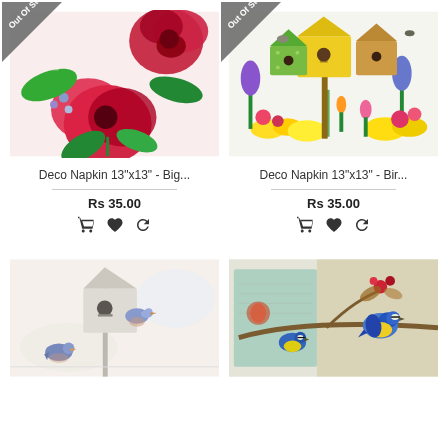[Figure (photo): Deco napkin with large red and pink flowers (roses and poppies) with green leaves on white background. 'Out Of Stock' diagonal banner in top-left corner.]
Deco Napkin 13"x13" - Big...
Rs 35.00
[Figure (photo): Deco napkin with colorful birdhouses on poles surrounded by bright garden flowers (tulips, daisies) and birds. 'Out Of Stock' diagonal banner in top-left corner.]
Deco Napkin 13"x13" - Bir...
Rs 35.00
[Figure (photo): Deco napkin with a blue-gray birdhouse on a post with two small bluebirds, soft pastel watercolor style.]
[Figure (photo): Deco napkin with blue tit birds perched on branches with red berries and autumn leaves, printed on vintage script paper background.]